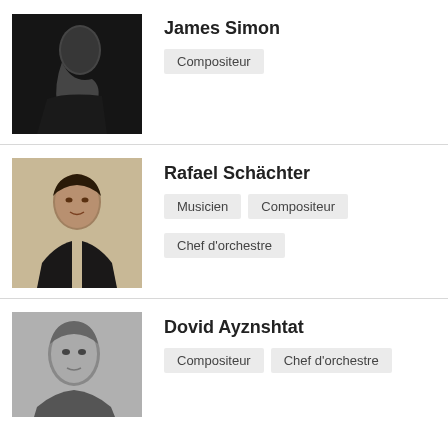[Figure (photo): Black and white photograph of James Simon, a man in profile looking downward]
James Simon
Compositeur
[Figure (photo): Sepia-toned photograph of Rafael Schächter, a young man facing forward]
Rafael Schächter
Musicien  Compositeur  Chef d'orchestre
[Figure (photo): Black and white photograph of Dovid Ayznshtat, a man facing forward]
Dovid Ayznshtat
Compositeur  Chef d'orchestre